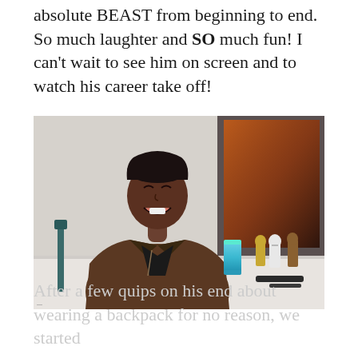absolute BEAST from beginning to end. So much laughter and SO much fun! I can't wait to see him on screen and to watch his career take off!
[Figure (photo): A man in a brown leather jacket laughing while seated at a table. Star Wars figurines and a green beverage can are on the table in front of him. A Star Wars movie poster is visible in the background.]
After a few quips on his end about wearing a backpack for no reason, we started